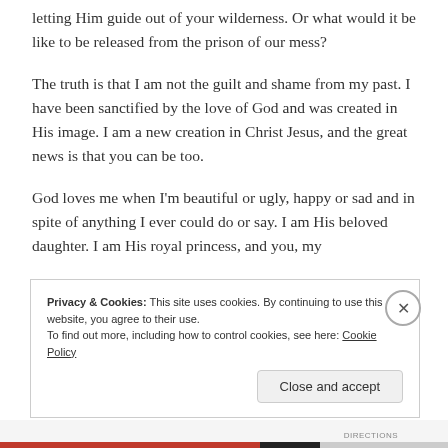letting Him guide out of your wilderness. Or what would it be like to be released from the prison of our mess?
The truth is that I am not the guilt and shame from my past. I have been sanctified by the love of God and was created in His image. I am a new creation in Christ Jesus, and the great news is that you can be too.
God loves me when I'm beautiful or ugly, happy or sad and in spite of anything I ever could do or say. I am His beloved daughter. I am His royal princess, and you, my
Privacy & Cookies: This site uses cookies. By continuing to use this website, you agree to their use.
To find out more, including how to control cookies, see here: Cookie Policy